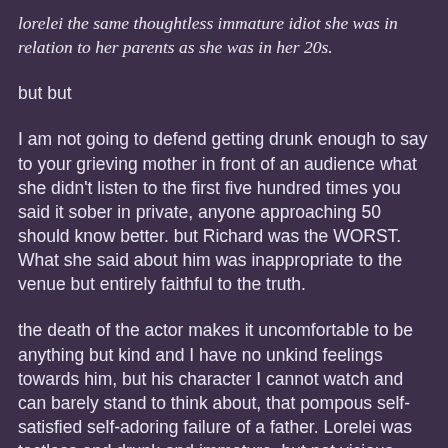lorelei the same thoughtless immature idiot she was in relation to her parents as she was in her 20s.
but but
I am not going to defend getting drunk enough to say to your grieving mother in front of an audience what she didn't listen to the first five hundred times you said it sober in private, anyone approaching 50 should know better. but Richard was the WORST. What she said about him was inappropriate to the venue but entirely faithful to the truth.
the death of the actor makes it uncomfortable to be anything but kind and I have no unkind feelings towards him, but his character I cannot watch and can barely stand to think about, that pompous self-satisfied self-adoring failure of a father. Lorelei was tactless and drunk and immature, but not vicious. She has always wrapped her cruelties in genuine thoughtlessness and immaturity